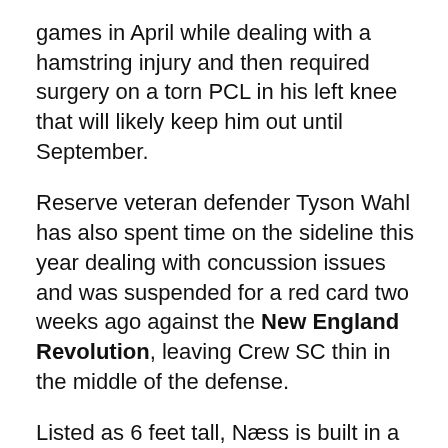games in April while dealing with a hamstring injury and then required surgery on a torn PCL in his left knee that will likely keep him out until September.
Reserve veteran defender Tyson Wahl has also spent time on the sideline this year dealing with concussion issues and was suspended for a red card two weeks ago against the New England Revolution, leaving Crew SC thin in the middle of the defense.
Listed as 6 feet tall, Næss is built in a similar fashion to current Black & Gold defender Michael Parkhurst. At 32-years old Parkhurst is on the decline of his career and this move may be to provide depth behind the club's captain who is in the final year of his contract with Columbus.
By the Crew SC source and some "Targeted Allocation...